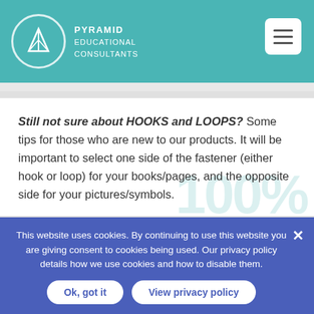[Figure (logo): Pyramid Educational Consultants logo with triangular icon in a circle and text]
Still not sure about HOOKS and LOOPS? Some tips for those who are new to our products. It will be important to select one side of the fastener (either hook or loop) for your books/pages, and the opposite side for your pictures/symbols.
There are no strict rules for which side goes where, but consider the following:
This website uses cookies. By continuing to use this website you are giving consent to cookies being used. Our privacy policy details how we use cookies and how to disable them.
Ok, got it
View privacy policy